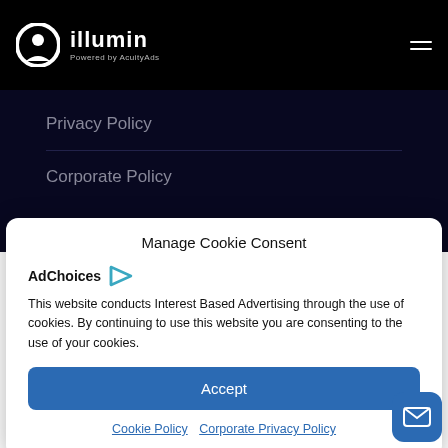[Figure (logo): illumin logo — circular icon and text 'illumin Powered by AcuityAds' on black navigation bar]
illumin
Powered by AcuityAds
Privacy Policy
Corporate Policy
Manage Cookie Consent
[Figure (logo): AdChoices logo with triangle play-button icon]
This website conducts Interest Based Advertising through the use of cookies. By continuing to use this website you are consenting to the use of your cookies.
Accept
Cookie Policy   Corporate Privacy Policy